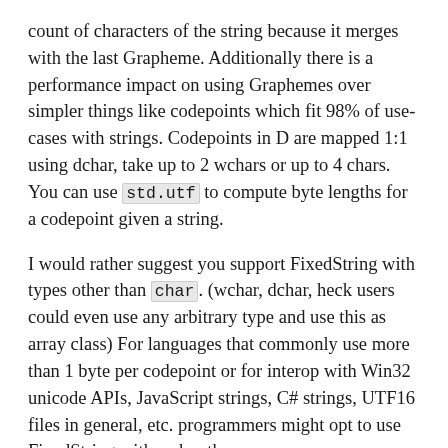count of characters of the string because it merges with the last Grapheme. Additionally there is a performance impact on using Graphemes over simpler things like codepoints which fit 98% of use-cases with strings. Codepoints in D are mapped 1:1 using dchar, take up to 2 wchars or up to 4 chars. You can use std.utf to compute byte lengths for a codepoint given a string.
I would rather suggest you support FixedString with types other than char. (wchar, dchar, heck users could even use any arbitrary type and use this as array class) For languages that commonly use more than 1 byte per codepoint or for interop with Win32 unicode APIs, JavaScript strings, C# strings, UTF16 files in general, etc. programmers might opt to use FixedString with wchar then.
With D's templates that should be quite easy to do (add a template parameter to the struct like struct FixedString(size_t maxSize, CharT = char) and replace all usage of char in your code with